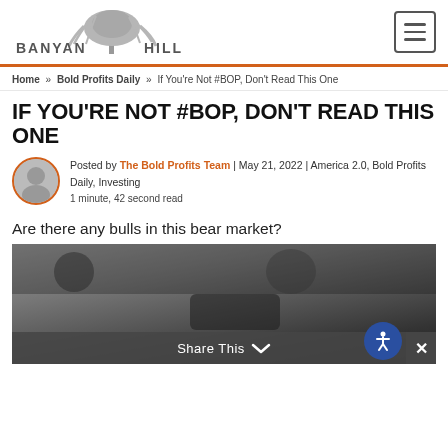BANYAN HILL
Home » Bold Profits Daily » If You're Not #BOP, Don't Read This One
IF YOU'RE NOT #BOP, DON'T READ THIS ONE
Posted by The Bold Profits Team | May 21, 2022 | America 2.0, Bold Profits Daily, Investing
1 minute, 42 second read
Are there any bulls in this bear market?
[Figure (photo): A person pointing at something on a surface, likely a car or vehicle, photographed in dark tones. Share This bar visible at bottom with accessibility icon.]